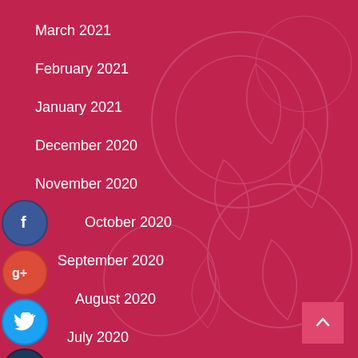March 2021
February 2021
January 2021
December 2020
November 2020
October 2020
September 2020
August 2020
July 2020
July 2017
[Figure (infographic): Social media share icons: Facebook (blue circle), Google+ (red/orange circle), Twitter (light blue circle), and a dark blue plus/add circle button stacked vertically on the left side of the page]
[Figure (other): Scroll-to-top button, pink square with upward caret arrow, bottom right corner]